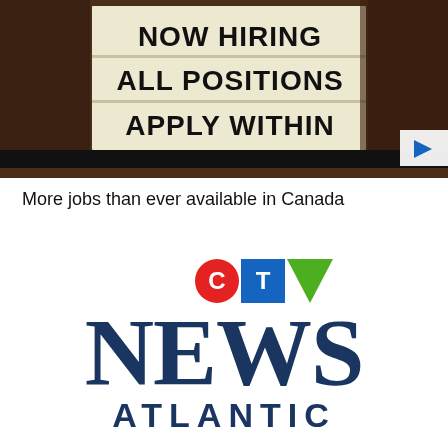[Figure (photo): A backlit sign reading 'NOW HIRING ALL POSITIONS APPLY WITHIN' on a dark brown brick or wood background, with a video play button in the bottom right corner.]
More jobs than ever available in Canada
[Figure (logo): CTV News Atlantic logo: CTV letters with red circle C, blue square T, green triangle V, followed by large serif 'News' and sans-serif 'ATLANTIC' in navy blue.]